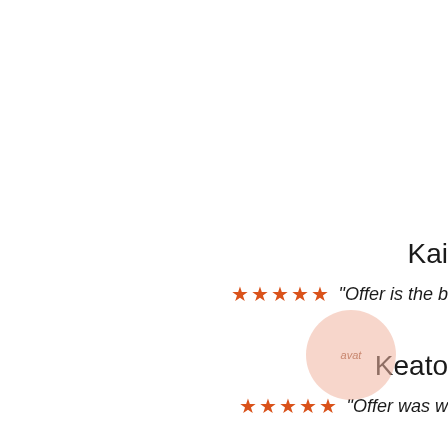Kai
★★★★★ "Offer is the b
Keato
★★★★★ "Offer was w